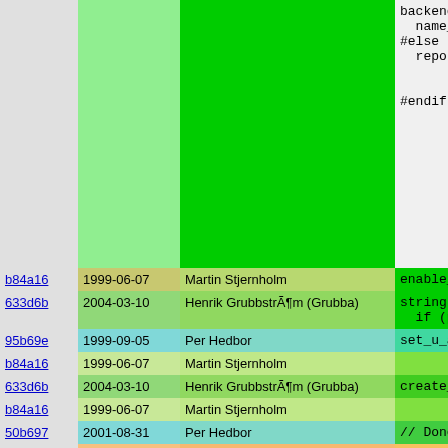| Hash | Date | Author | Code |
| --- | --- | --- | --- |
|  |  |  | backend_
  name_thr
#else
  report_d


#endif /* |
| b84a16 | 1999-06-07 | Martin Stjernholm | enable_c |
| 633d6b | 2004-03-10 | Henrik Grubbström (Grubba) | string p
  if (pid_ |
| 95b69e | 1999-09-05 | Per Hedbor | set_u_an |
| b84a16 | 1999-06-07 | Martin Stjernholm |  |
| 633d6b | 2004-03-10 | Henrik Grubbström (Grubba) | create_p |
| b84a16 | 1999-06-07 | Martin Stjernholm |  |
| 50b697 | 2001-08-31 | Per Hedbor | // Done |
| c30d32 | 2000-11-11 | Martin Nilsson | #ifdef RUN
  enable_c
#else
  if( Geto |
| 1766be | 2000-02-16 | Per Hedbor | enable |